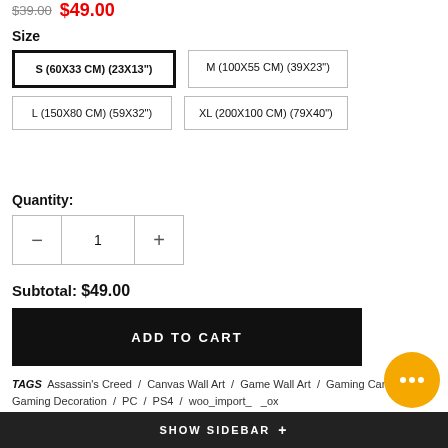$39.00  $49.00
Size
S (60X33 CM) (23X13") — selected
M (100X55 CM) (39X23")
L (150X80 CM) (59X32")
XL (200X100 CM) (79X40")
Quantity:
Subtotal: $49.00
ADD TO CART
TAGS  Assassin's Creed / Canvas Wall Art / Game Wall Art / Gaming Canvas / Gaming Decoration / PC / PS4 / woo_import_ _ox
SHOW SIDEBAR +